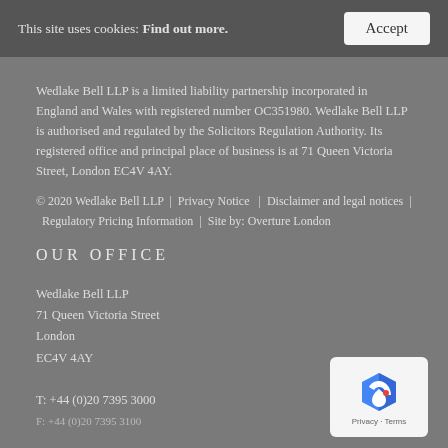This site uses cookies: Find out more. | Accept
Wedlake Bell LLP is a limited liability partnership incorporated in England and Wales with registered number OC351980. Wedlake Bell LLP is authorised and regulated by the Solicitors Regulation Authority. Its registered office and principal place of business is at 71 Queen Victoria Street, London EC4V 4AY.
© 2020 Wedlake Bell LLP | Privacy Notice | Disclaimer and legal notices | Regulatory Pricing Information | Site by: Overture London
OUR OFFICE
Wedlake Bell LLP
71 Queen Victoria Street
London
EC4V 4AY

T: +44 (0)20 7395 3000